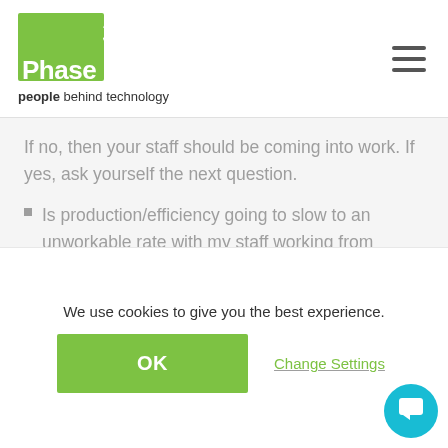[Figure (logo): Phase3 logo — green square with white '3' and 'Phase' text, tagline 'people behind technology']
If no, then your staff should be coming into work. If yes, ask yourself the next question.
Is production/efficiency going to slow to an unworkable rate with my staff working from home?
We use cookies to give you the best experience.
OK
Change Settings